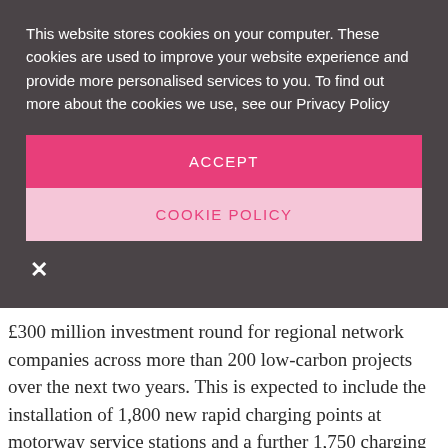This website stores cookies on your computer. These cookies are used to improve your website experience and provide more personalised services to you. To find out more about the cookies we use, see our Privacy Policy
ACCEPT
COOKIE POLICY
✕
£300 million investment round for regional network companies across more than 200 low-carbon projects over the next two years. This is expected to include the installation of 1,800 new rapid charging points at motorway service stations and a further 1,750 charging points in towns and cities.
These new installations will go towards the government's